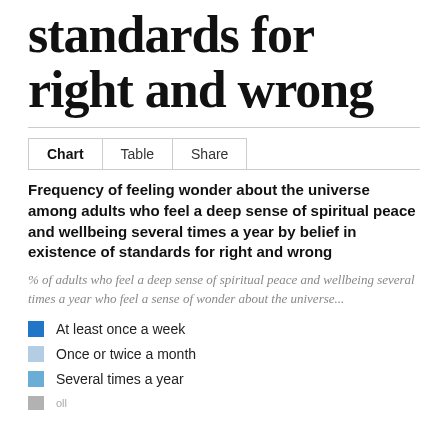standards for right and wrong
Chart   Table   Share
Frequency of feeling wonder about the universe among adults who feel a deep sense of spiritual peace and wellbeing several times a year by belief in existence of standards for right and wrong
% of adults who feel a deep sense of spiritual peace and wellbeing several times a year who feel a sense of wonder about the universe...
At least once a week
Once or twice a month
Several times a year